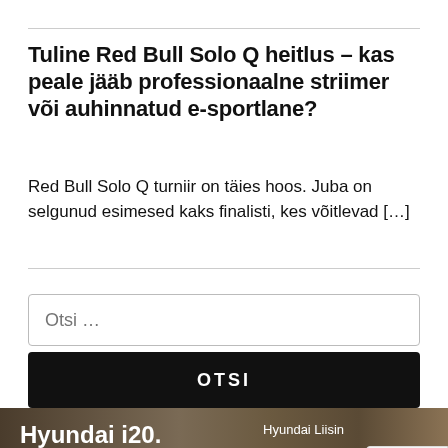Tuline Red Bull Solo Q heitlus – kas peale jääb professionaalne striimer või auhinnatud e-sportlane?
Red Bull Solo Q turniir on täies hoos. Juba on selgunud esimesed kaks finalisti, kes võitlevad […]
[Figure (other): Advertisement banner for Hyundai i20 with text 'Hyundai i20. Rikkalik varustus,' and 'Hyundai Liisin' on the right side, over a building background image.]